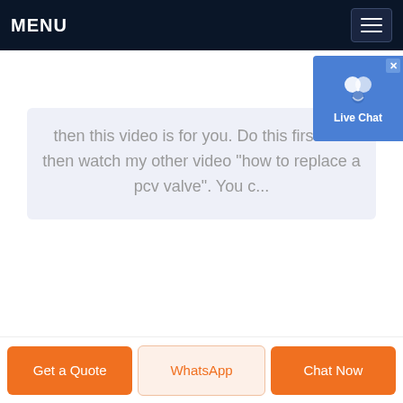MENU
then this video is for you. Do this first and then watch my other video "how to replace a pcv valve". You c...
[Figure (screenshot): Live Chat overlay button with user icon and blue background, with X close button in corner]
Get a Quote
WhatsApp
Chat Now